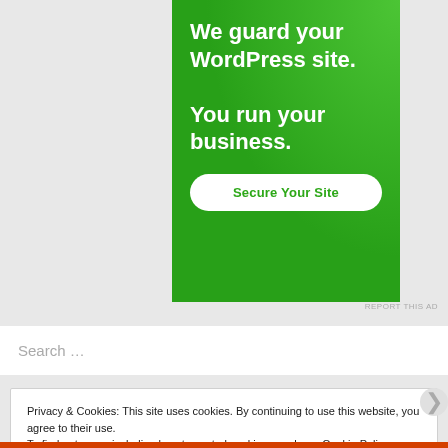[Figure (illustration): Green advertisement banner for WordPress site security service. Text reads 'We guard your WordPress site. You run your business.' with a 'Secure Your Site' button.]
REPORT THIS AD
Search …
Privacy & Cookies: This site uses cookies. By continuing to use this website, you agree to their use. To find out more, including how to control cookies, see here: Cookie Policy